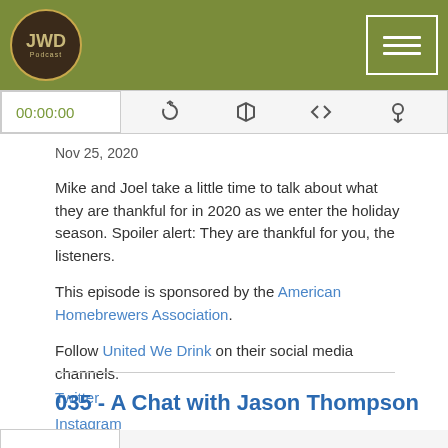[Figure (logo): JWD Podcast logo in circular frame on olive green header bar with hamburger menu icon on right]
[Figure (screenshot): Podcast audio player bar showing 00:00:00 timestamp and media control icons]
Nov 25, 2020
Mike and Joel take a little time to talk about what they are thankful for in 2020 as we enter the holiday season. Spoiler alert: They are thankful for you, the listeners.
This episode is sponsored by the American Homebrewers Association.
Follow United We Drink on their social media channels.
Twitter
Instagram
Read More
035 - A Chat with Jason Thompson